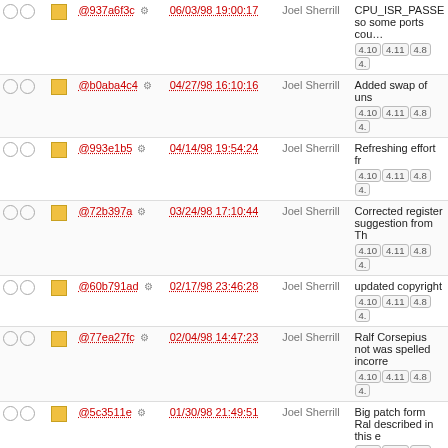|  |  | Hash | Date | Author | Description |
| --- | --- | --- | --- | --- | --- |
| ○○ | ■ | @937a6f3c ⚙ | 06/03/98 19:00:17 | Joel Sherrill | CPU_ISR_PASSE so some ports cou… 4.10 4.11 4.8 4. |
| ○○ | ■ | @b0aba4c4 ⚙ | 04/27/98 16:10:16 | Joel Sherrill | Added swap of uns 4.10 4.11 4.8 4. |
| ○○ | ■ | @993e1b5 ⚙ | 04/14/98 19:54:24 | Joel Sherrill | Refreshing effort fr 4.10 4.11 4.8 4. |
| ○○ | ■ | @72b397a ⚙ | 03/24/98 17:10:44 | Joel Sherrill | Corrected register suggestion from Th 4.10 4.11 4.8 4. |
| ○○ | ■ | @60b791ad ⚙ | 02/17/98 23:46:28 | Joel Sherrill | updated copyright 4.10 4.11 4.8 4. |
| ○○ | ■ | @77ea27fc ⚙ | 02/04/98 14:47:23 | Joel Sherrill | Ralf Corsepius not was spelled incorre 4.10 4.11 4.8 4. |
| ○○ | ■ | @5c3511e ⚙ | 01/30/98 21:49:51 | Joel Sherrill | Big patch form Ral described in this e 4.10 4.11 4.8 4. |
| ○○ | ■ | @cb5bfe4 ⚙ | 01/20/98 19:41:09 | Joel Sherrill | Removed CONFIG PROJECT_HOME 4.10 4.11 4.8 4. |
| ○○ | ■ | @674c900 ⚙ | 12/10/97 16:58:00 | Joel Sherrill | Modified a lot of file supporting building 4.10 4.11 4.8 4. |
| ○○ | ■ | @98e4ebf5 ⚙ | 10/08/97 15:45:54 | Joel Sherrill | Fixed typo in the p terms. 4.10 4.11 |
| ○○ | ■ | @a2016b99 ⚙ | 10/08/97 14:42:08 | Joel Sherrill | Removed include c point and the link c 4.10 4.11 4.8 4. |
| ○○ | ■ | @??f?154? ⚙ | 04/??/97 17:??:?? | Joel Sherrill | headers updated to … |